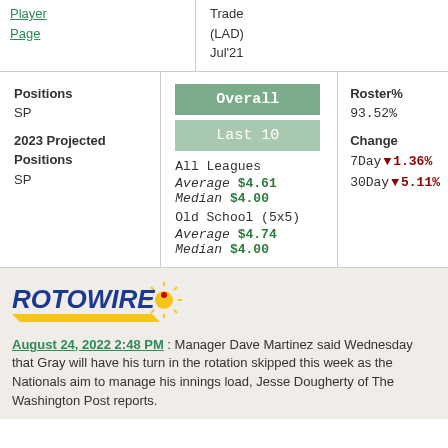Player Page
Trade (LAD) Jul'21
Positions
SP
2023 Projected Positions
SP
[Figure (infographic): Overall and Last 10 selector buttons in green]
All Leagues
Average $4.61
Median $4.00
Old School (5x5)
Average $4.74
Median $4.00
Roster%
93.52%
Change
7Day ▼ 1.36%
30Day ▼ 5.11%
[Figure (logo): RotoWire logo with sun rays, red dot, blue ROTOWIRE text, yellow lightning bolt]
August 24, 2022 2:48 PM : Manager Dave Martinez said Wednesday that Gray will have his turn in the rotation skipped this week as the Nationals aim to manage his innings load, Jesse Dougherty of The Washington Post reports.